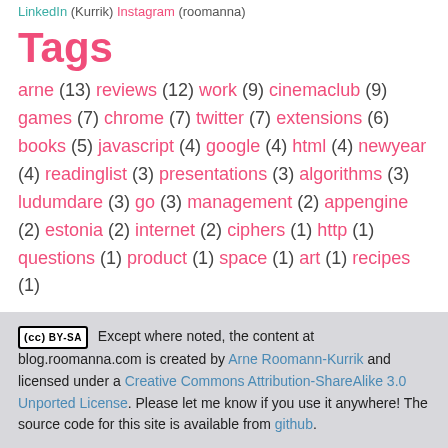LinkedIn (Kurrik) Instagram (roomanna)
Tags
arne (13) reviews (12) work (9) cinemaclub (9) games (7) chrome (7) twitter (7) extensions (6) books (5) javascript (4) google (4) html (4) newyear (4) readinglist (3) presentations (3) algorithms (3) ludumdare (3) go (3) management (2) appengine (2) estonia (2) internet (2) ciphers (1) http (1) questions (1) product (1) space (1) art (1) recipes (1)
Except where noted, the content at blog.roomanna.com is created by Arne Roomann-Kurrik and licensed under a Creative Commons Attribution-ShareAlike 3.0 Unported License. Please let me know if you use it anywhere! The source code for this site is available from github.